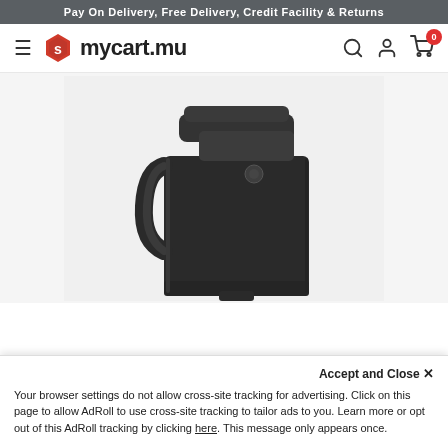Pay On Delivery, Free Delivery, Credit Facility & Returns
[Figure (logo): mycart.mu logo with hexagonal red icon and text]
[Figure (photo): Close-up product photo of a black plastic clip/holster device on a white/grey background]
Accept and Close ×
Your browser settings do not allow cross-site tracking for advertising. Click on this page to allow AdRoll to use cross-site tracking to tailor ads to you. Learn more or opt out of this AdRoll tracking by clicking here. This message only appears once.